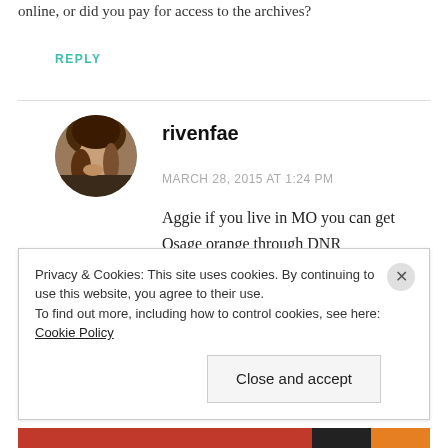online, or did you pay for access to the archives?
REPLY
[Figure (photo): Circular avatar photo of a young woman with long brown hair, resting her hand on her cheek.]
rivenfae
MARCH 28, 2015 AT 1:24 PM
Aggie if you live in MO you can get Osage orange through DNR
Privacy & Cookies: This site uses cookies. By continuing to use this website, you agree to their use.
To find out more, including how to control cookies, see here: Cookie Policy
Close and accept